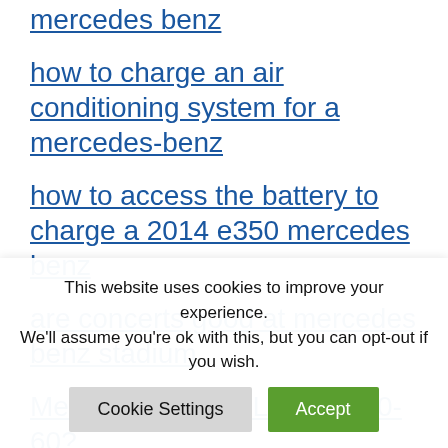mercedes benz
how to charge an air conditioning system for a mercedes-benz
how to access the battery to charge a 2014 e350 mercedes benz
are concerts good at mercedes benz stadium
Mercedes-Benz SL55 AMG 0-60?
where is the obd2 port on mercedes benz eclass
This website uses cookies to improve your experience. We'll assume you're ok with this, but you can opt-out if you wish.